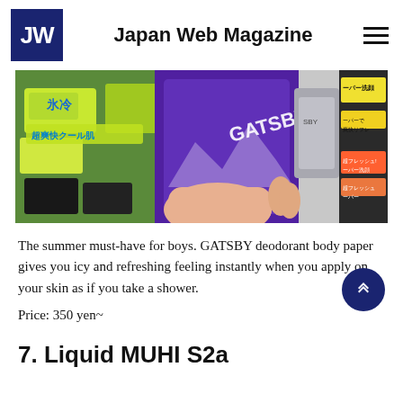Japan Web Magazine
[Figure (photo): A hand holding a purple GATSBY deodorant body paper product in a convenience store or pharmacy, with Japanese product packaging visible in the background including green cooling products and paper wash products.]
The summer must-have for boys. GATSBY deodorant body paper gives you icy and refreshing feeling instantly when you apply on your skin as if you take a shower.
Price: 350 yen~
7. Liquid MUHI S2a